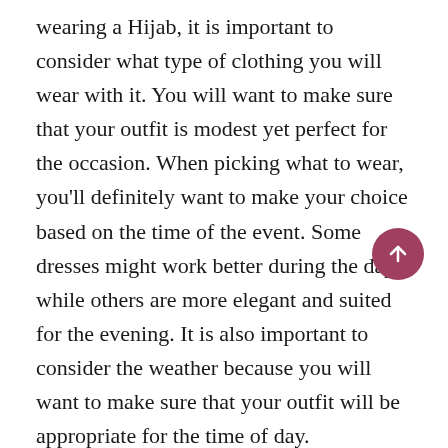wearing a Hijab, it is important to consider what type of clothing you will wear with it. You will want to make sure that your outfit is modest yet perfect for the occasion. When picking what to wear, you'll definitely want to make your choice based on the time of the event. Some dresses might work better during the day, while others are more elegant and suited for the evening. It is also important to consider the weather because you will want to make sure that your outfit will be appropriate for the time of day.
Here are a couple more style tips that will help with finding the right look for your formal as a Hijabi. You should make sure that you are wearing a